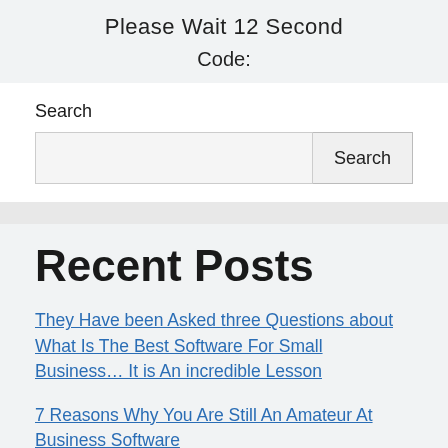Please Wait  12  Second
Code:
Search
Recent Posts
They Have been Asked three Questions about What Is The Best Software For Small Business… It is An incredible Lesson
7 Reasons Why You Are Still An Amateur At Business Software